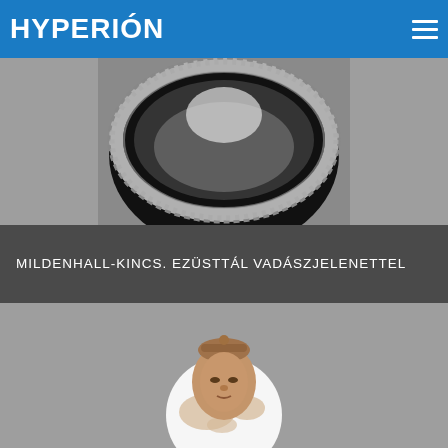HYPERIÓN
[Figure (photo): Black and white photograph of a decorative silver platter with ornate relief carvings along its rim, showing the top portion of the Mildenhall Treasure dish.]
MILDENHALL-KINCS. EZÜSTTÁL VADÁSZJELENETTEL
[Figure (photo): Color photograph of a terracotta or clay sculptural head with elaborate braided hairstyle and headdress, shown in front of a white globe/world map graphic on a gray background.]